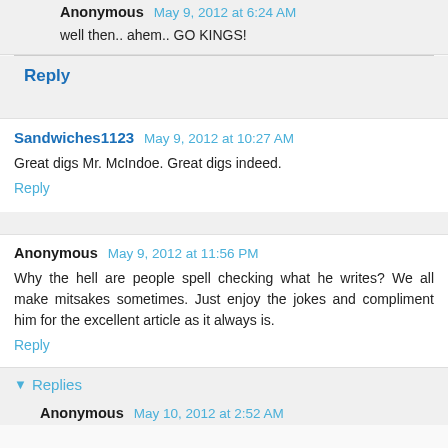Anonymous May 9, 2012 at 6:24 AM
well then.. ahem.. GO KINGS!
Reply
Sandwiches1123 May 9, 2012 at 10:27 AM
Great digs Mr. McIndoe. Great digs indeed.
Reply
Anonymous May 9, 2012 at 11:56 PM
Why the hell are people spell checking what he writes? We all make mitsakes sometimes. Just enjoy the jokes and compliment him for the excellent article as it always is.
Reply
Replies
Anonymous May 10, 2012 at 2:52 AM